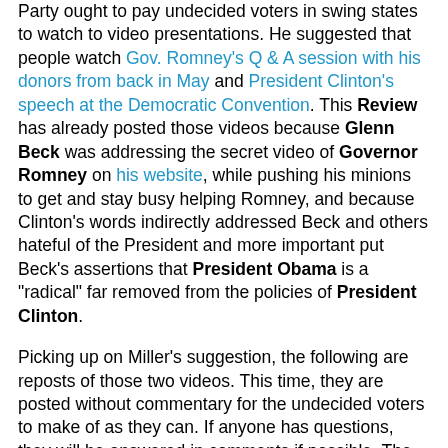Party ought to pay undecided voters in swing states to watch to video presentations. He suggested that people watch Gov. Romney's Q & A session with his donors from back in May and President Clinton's speech at the Democratic Convention. This Review has already posted those videos because Glenn Beck was addressing the secret video of Governor Romney on his website, while pushing his minions to get and stay busy helping Romney, and because Clinton's words indirectly addressed Beck and others hateful of the President and more important put Beck's assertions that President Obama is a "radical" far removed from the policies of President Clinton.
Picking up on Miller's suggestion, the following are reposts of those two videos. This time, they are posted without commentary for the undecided voters to make of as they can. If anyone has questions, they will be answered in comments if possible. The first will be Governor Romney's comments to the wealthy donors from last May in a Q and A session at the Boca Raton, FL home of Marc Leder.
[Figure (screenshot): Video thumbnail with black background showing Mother Jones orange circle logo on left and partial text 'Full Mitt R...' in white]